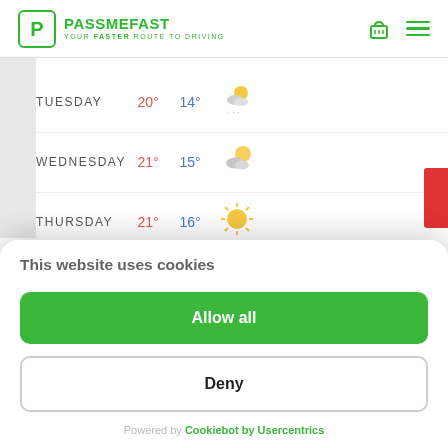[Figure (logo): PassMeFast logo with green P icon and tagline YOUR FASTER ROUTE TO DRIVING]
[Figure (other): Weather forecast table showing Tuesday 20° 14° with sleet/snow icon, Wednesday 21° 15° with partly cloudy icon, Thursday 21° 16° with sunny icon]
This website uses cookies
Allow all
Deny
Powered by Cookiebot by Usercentrics